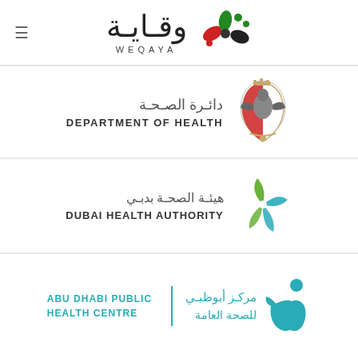[Figure (logo): Weqaya logo with Arabic text 'وقاية', text 'WEQAYA', and colorful flower/dot graphic. Hamburger menu icon on left.]
[Figure (logo): Department of Health Abu Dhabi logo with Arabic text 'دائرة الصحة' and English text 'DEPARTMENT OF HEALTH', with UAE falcon crest emblem.]
[Figure (logo): Dubai Health Authority logo with Arabic text 'هيئة الصحة بدبي' and English text 'DUBAI HEALTH AUTHORITY', with green and teal star/arrow graphic.]
[Figure (logo): Abu Dhabi Public Health Centre logo with English text 'ABU DHABI PUBLIC HEALTH CENTRE', Arabic text 'مركز أبوظبي للصحة العامة', vertical divider, and teal human figure graphic.]